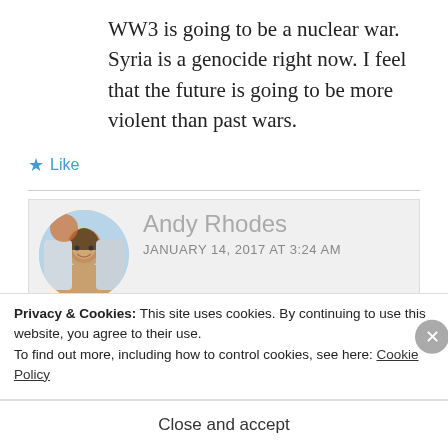WW3 is going to be a nuclear war. Syria is a genocide right now. I feel that the future is going to be more violent than past wars.
★ Like
Andy Rhodes
JANUARY 14, 2017 AT 3:24 AM
Privacy & Cookies: This site uses cookies. By continuing to use this website, you agree to their use.
To find out more, including how to control cookies, see here: Cookie Policy
Close and accept